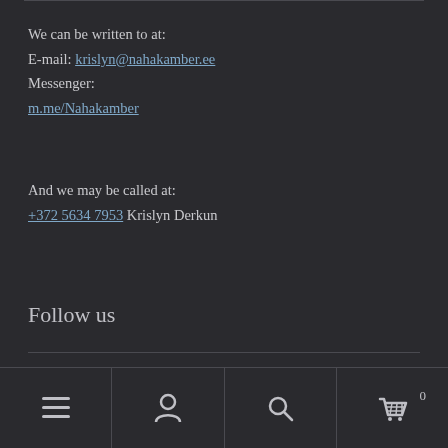We can be written to at:
E-mail: krislyn@nahakamber.ee
Messenger:
m.me/Nahakamber
And we may be called at:
+372 5634 7953 Krislyn Derkun
Follow us
[Figure (illustration): Facebook and Instagram social media icons]
Navigation bar with menu, account, search, and cart (0) icons